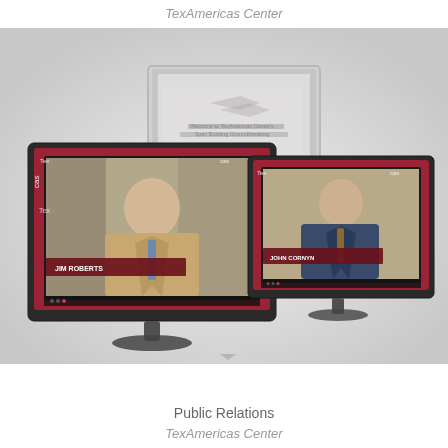TexAmericas Center
[Figure (photo): Three computer monitors displayed in a grouping on a light gray gradient background. Each monitor shows a video still — the center/back monitor displays a welcome screen for TexAmericas Center's Spec Building Groundbreaking; the left front monitor shows an older man in a tan suit being interviewed (lower-third name bar visible); the right monitor shows another older man in a suit being interviewed. All monitors have dark stands and bases. The monitors' screens feature a red border/frame design with 'TexAmericas' branding.]
Public Relations
TexAmericas Center